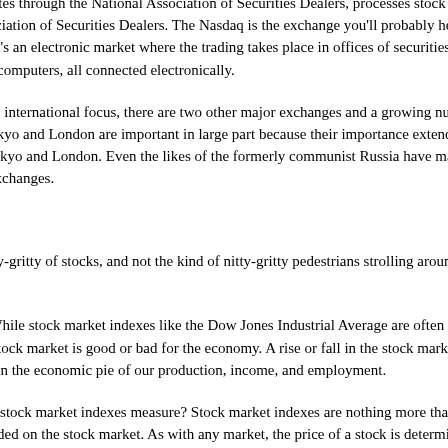Stock Exchange that operates through the National Association of Securities Dealers, processes stock transactions through the National Association of Securities Dealers. The Nasdaq is the exchange you'll probably hear about in terms of the tech market. It's an electronic market where the trading takes place in offices of securities firms, with brokers, dealers, and their computers, all connected electronically.
For stock investors with an international focus, there are two other major exchanges and a growing number of minor ones. The exchanges in Tokyo and London are important in large part because their importance extends well beyond the domestic markets in Tokyo and London. Even the likes of the formerly communist Russia have made headlines with the development of exchanges.
Dividing Up the Assets
It's time to get into the nitty-gritty of stocks, and not the kind of nitty-gritty pedestrians strolling around the exchange talk about.
First, let's dispel a myth. While stock market indexes like the Dow Jones Industrial Average are often used as indicators of whether the stock market is good or bad for the economy. A rise or fall in the stock market is not the equivalent of a rise or fall in the economic pie of our production, income, and employment.
What, then, do the various stock market indexes measure? Stock market indexes are nothing more than the average price of selected stocks traded on the stock market. As with any market, the price of a stock is determined through the agreement between buyers and sellers. But what exactly is the value being agreed on? The simple answer is the value of the firm.
Let's take an example. Suppose the XYZ Corporation has $10 billion in assets and it has issued 100 million shares of stock, then each share represents one-hundredth millionth of the company.